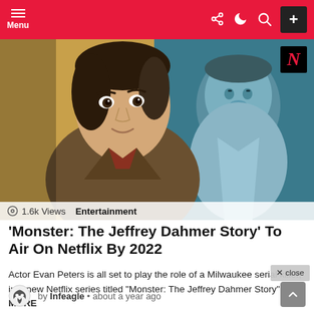Menu | Share | Dark mode | Search | +
[Figure (photo): Composite image showing actor Evan Peters (foreground, left) and a blue-tinted photo of Jeffrey Dahmer (background, right), with a Netflix 'N' logo badge in the top-right corner. Overlay shows '1.6k Views' and 'Entertainment' category label.]
'Monster: The Jeffrey Dahmer Story' To Air On Netflix By 2022
Actor Evan Peters is all set to play the role of a Milwaukee serial killer, in a new Netflix series titled "Monster: The Jeffrey Dahmer Story". MORE
by Infeagle · about a year ago